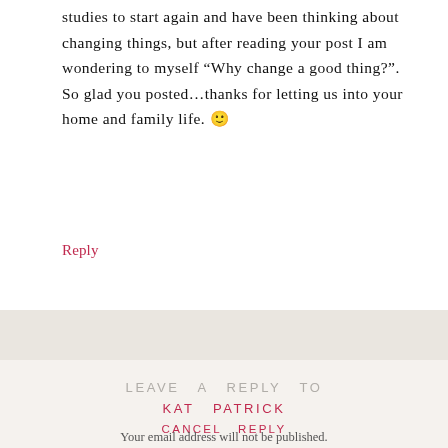studies to start again and have been thinking about changing things, but after reading your post I am wondering to myself “Why change a good thing?”. So glad you posted…thanks for letting us into your home and family life. 🙂
Reply
LEAVE A REPLY TO KAT PATRICK CANCEL REPLY
Your email address will not be published.